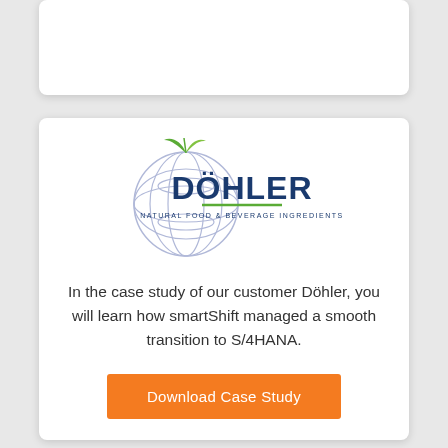[Figure (logo): Döhler logo — a globe with lattice lines in light blue/periwinkle, a green leaf on top, dark navy blue text 'DÖHLER' in large bold letters, and smaller text 'NATURAL FOOD & BEVERAGE INGREDIENTS' with a green underline below]
In the case study of our customer Döhler, you will learn how smartShift managed a smooth transition to S/4HANA.
Download Case Study